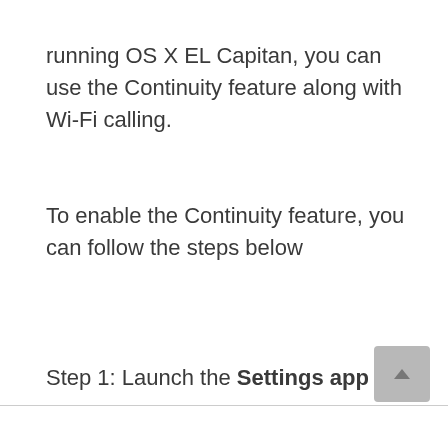running OS X EL Capitan, you can use the Continuity feature along with Wi-Fi calling.
To enable the Continuity feature, you can follow the steps below
Step 1: Launch the Settings app